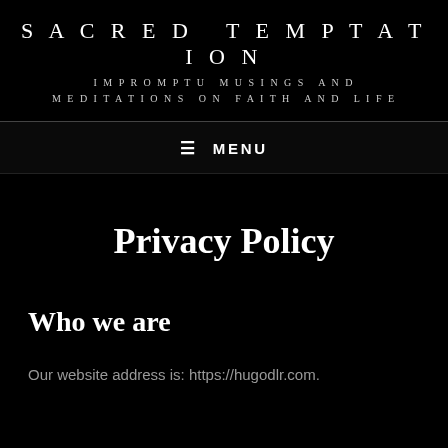SACRED TEMPTATION
IMPROMPTU MUSINGS AND MEDITATIONS ON FAITH AND LIFE
≡ MENU
Privacy Policy
Who we are
Our website address is: https://hugodlr.com.